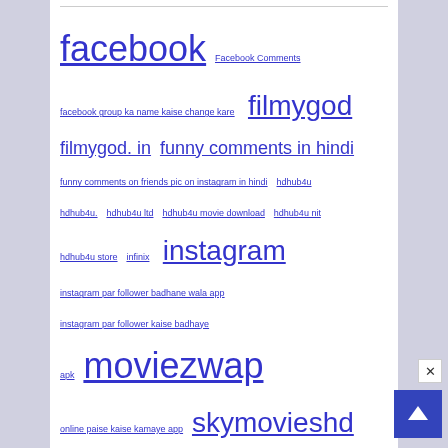facebook  Facebook Comments
facebook group ka name kaise change kare   filmygod
filmygod. in   funny comments in hindi
funny comments on friends pic on instagram in hindi   hdhub4u
hdhub4u.   hdhub4u ltd   hdhub4u movie download   hdhub4u nit
hdhub4u store   infinix   instagram
instagram par follower badhane wala app
instagram par follower kaise badhaye apk   moviezwap
online paise kaise kamaye app   skymovieshd
ssr movies   ssr movies 300   ssr movies 2021
ssr movies list   ssr movies point
ssr movies tv show   ssr movies win
ssr movies xyz   tamilmy   tamilmy   tamilmy. us